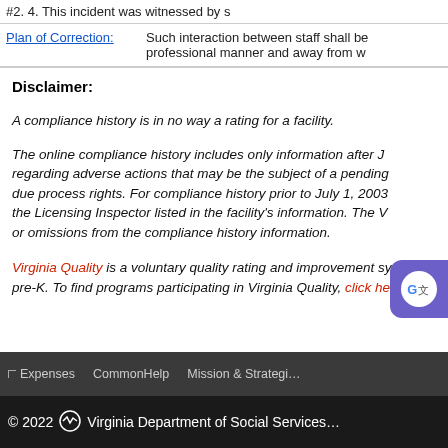| #2. 4. This incident was witnessed by s… |
| Plan of Correction: | Such interaction between staff shall be… professional manner and away from w… |
Disclaimer:
A compliance history is in no way a rating for a facility.
The online compliance history includes only information after J… regarding adverse actions that may be the subject of a pending… due process rights. For compliance history prior to July 1, 2003… the Licensing Inspector listed in the facility's information. The V… or omissions from the compliance history information.
Virginia Quality is a voluntary quality rating and improvement sy… pre-K. To find programs participating in Virginia Quality, click he…
Expenses   CommonHelp   Mission & Strategic…
© 2022 Virginia Department of Social Services…